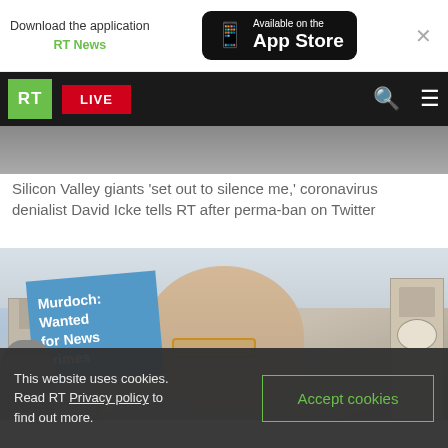Download the application RT News — Available on the App Store
[Figure (screenshot): RT News navigation bar with RT logo, LIVE button, search icon and menu icon on dark background]
[Figure (photo): Partial hero image showing a person at a protest]
Silicon Valley giants 'set out to silence me,' coronavirus denialist David Icke tells RT after perma-ban on Twitter
[Figure (photo): Protest photo showing a large puppet/mask of Rupert Murdoch holding a sign reading 'Murdoch: Wanted for News Crimes' with Big Ben and buildings in background]
This website uses cookies. Read RT Privacy policy to find out more.